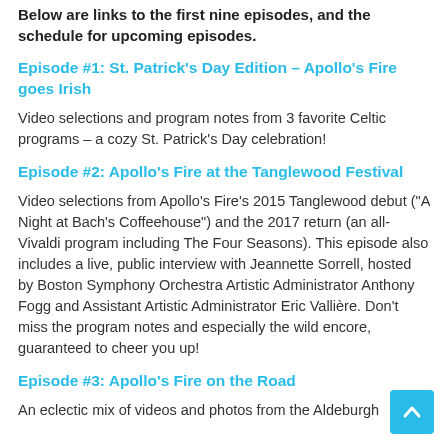Below are links to the first nine episodes, and the schedule for upcoming episodes.
Episode #1: St. Patrick’s Day Edition – Apollo’s Fire goes Irish
Video selections and program notes from 3 favorite Celtic programs – a cozy St. Patrick’s Day celebration!
Episode #2: Apollo’s Fire at the Tanglewood Festival
Video selections from Apollo’s Fire’s 2015 Tanglewood debut (“A Night at Bach’s Coffeehouse”) and the 2017 return (an all-Vivaldi program including The Four Seasons). This episode also includes a live, public interview with Jeannette Sorrell, hosted by Boston Symphony Orchestra Artistic Administrator Anthony Fogg and Assistant Artistic Administrator Eric Vallière. Don’t miss the program notes and especially the wild encore, guaranteed to cheer you up!
Episode #3: Apollo’s Fire on the Road
An eclectic mix of videos and photos from the Aldeburgh